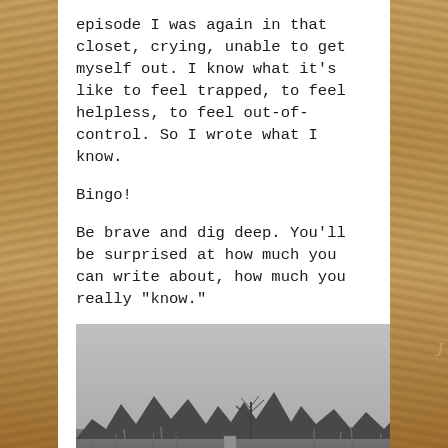episode I was again in that closet, crying, unable to get myself out. I know what it's like to feel trapped, to feel helpless, to feel out-of-control. So I wrote what I know.
Bingo!
Be brave and dig deep. You'll be surprised at how much you can write about, how much you really "know."
[Figure (photo): Black and white photograph of a rural landscape with bare tree, treeline in the background, wild grass in the foreground, and a wooden post]